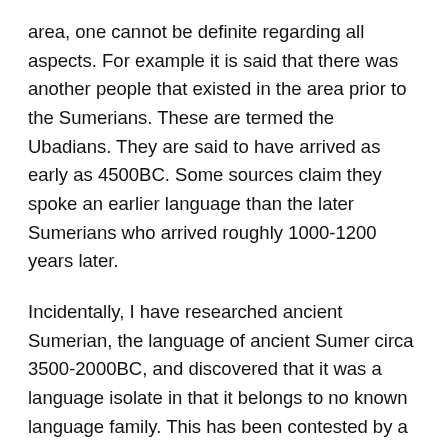area, one cannot be definite regarding all aspects. For example it is said that there was another people that existed in the area prior to the Sumerians. These are termed the Ubadians. They are said to have arrived as early as 4500BC. Some sources claim they spoke an earlier language than the later Sumerians who arrived roughly 1000-1200 years later.
Incidentally, I have researched ancient Sumerian, the language of ancient Sumer circa 3500-2000BC, and discovered that it was a language isolate in that it belongs to no known language family. This has been contested by a few but remains the consensus view. It is also the oldest known written language in the world. Archaic Sumerian, its oldest form, has been proven to exist as early as 3100BC. Sumerian gradually began disappearing as a spoken language circa 1750BC, but continued to be used in